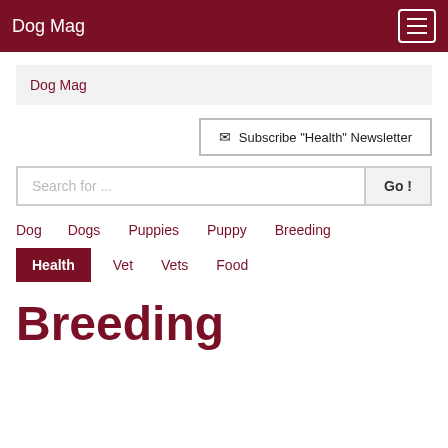Dog Mag
Dog Mag
✉ Subscribe "Health" Newsletter
Search for ...
Dog
Dogs
Puppies
Puppy
Breeding
Health
Vet
Vets
Food
Breeding